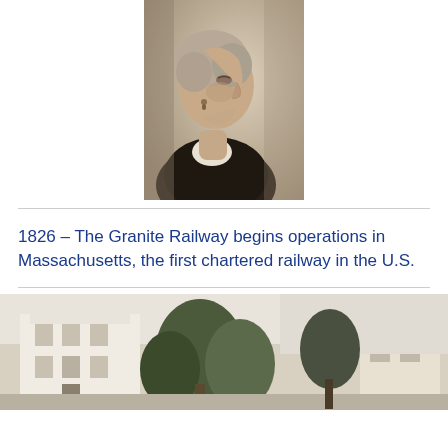[Figure (photo): Black and white portrait photograph of an elderly woman in profile view facing right, wearing a dark dress with white lace collar, with short light-colored hair and a small earring.]
1826 – The Granite Railway begins operations in Massachusetts, the first chartered railway in the U.S.
[Figure (photo): Black and white outdoor photograph showing a white building with trees in the foreground.]